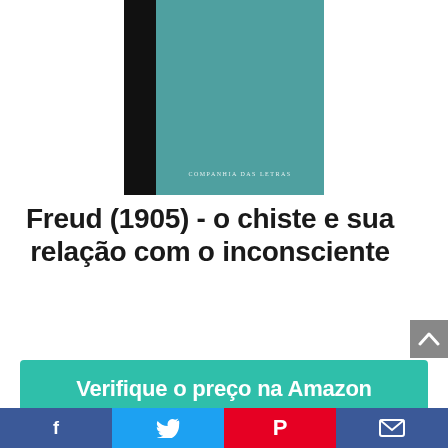[Figure (illustration): Book cover of 'O Chiste e sua Relação com o Inconsciente' by Freud, published by Companhia das Letras. The cover has a black spine on the left and a teal/dark cyan main face with the publisher name 'Companhia das Letras' in small white text near the bottom.]
Freud (1905) - o chiste e sua relação com o inconsciente
Verifique o preço na Amazon
Amazon.com.br